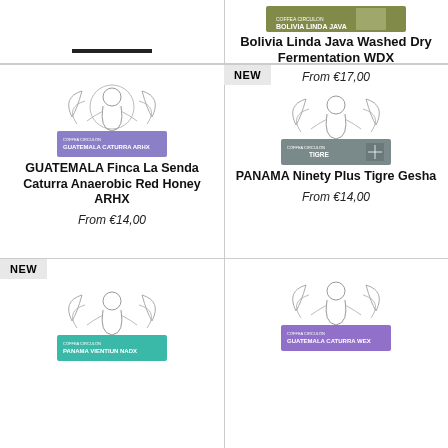[Figure (illustration): Top-left cell partial: horizontal black bar decoration]
[Figure (illustration): Top-right: Bolivia Linda Java coffee product label image (olive/green label)]
Bolivia Linda Java Washed Dry Fermentation WDX
From €17,00
NEW
[Figure (illustration): Coffea Circulon Guatemala Caturra ARHX coffee bag illustration with decorative woman figure]
GUATEMALA Finca La Senda Caturra Anaerobic Red Honey ARHX
From €14,00
NEW
[Figure (illustration): Coffea Circulon Panama Ninety Plus Tigre Gesha coffee bag illustration with decorative woman figure]
PANAMA Ninety Plus Tigre Gesha
From €14,00
NEW
[Figure (illustration): Coffea Circulon Panama Vientiun NADX coffee bag illustration with decorative woman figure (teal label)]
[Figure (illustration): Coffea Circulon Guatemala Caturra WEX coffee bag illustration with decorative woman figure (purple label)]